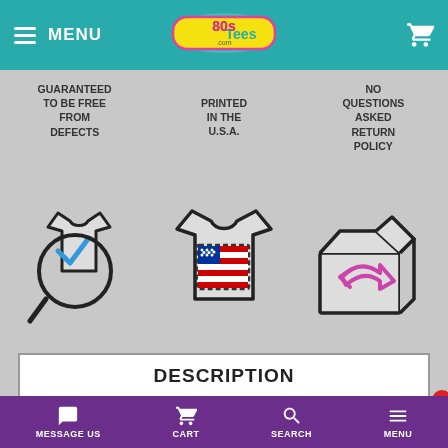MENU | 80sTees.com | Cart
GUARANTEED TO BE FREE FROM DEFECTS
PRINTED IN THE U.S.A.
NO QUESTIONS ASKED RETURN POLICY
[Figure (illustration): T-shirt with magnifying glass and checkmark icon for quality guarantee]
[Figure (illustration): T-shirt with American flag print icon for printed in USA]
[Figure (illustration): Box with return arrow icon for no questions asked return policy]
DESCRIPTION
This Womens Cootie Shirt show
MESSAGE US | CART | SEARCH | MENU